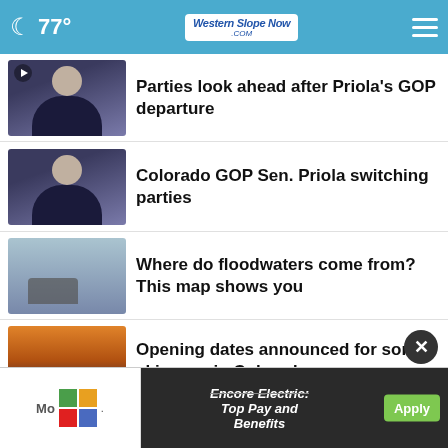77° Western Slope Now .com
Parties look ahead after Priola's GOP departure
Colorado GOP Sen. Priola switching parties
Where do floodwaters come from? This map shows you
Opening dates announced for some ski areas in Colorado
Action soon on student loan debt
[Figure (screenshot): Advertisement banner: Encore Electric: Top Pay and Benefits, with Apply button]